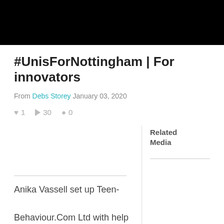#UnisForNottingham | For innovators
From Debs Storey January 03, 2020
♥ 1  ▶ 30  ● 0
Related Media
Anika Vassell set up Teen-Behaviour.Com Ltd with help from the